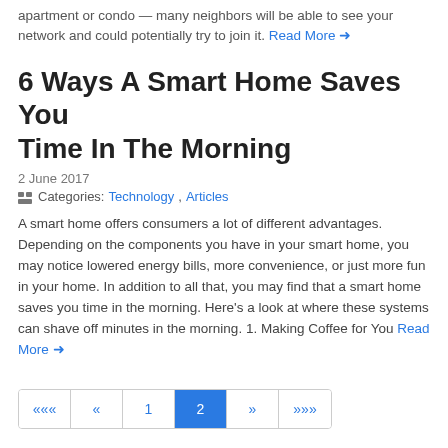apartment or condo — many neighbors will be able to see your network and could potentially try to join it. Read More →
6 Ways A Smart Home Saves You Time In The Morning
2 June 2017
Categories: Technology, Articles
A smart home offers consumers a lot of different advantages. Depending on the components you have in your smart home, you may notice lowered energy bills, more convenience, or just more fun in your home. In addition to all that, you may find that a smart home saves you time in the morning. Here's a look at where these systems can shave off minutes in the morning. 1. Making Coffee for You Read More →